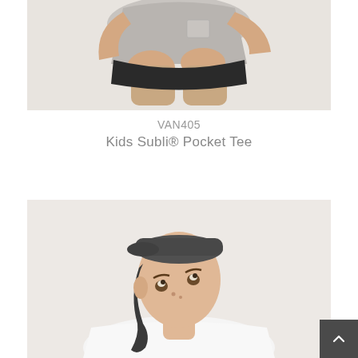[Figure (photo): Child model wearing a grey t-shirt and dark shorts, crouching/kneeling, torso and legs visible, photographed from front on white background]
VAN405
Kids Subli® Pocket Tee
[Figure (photo): Young child model wearing a white t-shirt and grey backwards baseball cap, looking upward, photographed from the chest up on a light background]
[Figure (other): Back to top button - dark grey square button with upward-pointing chevron arrow]